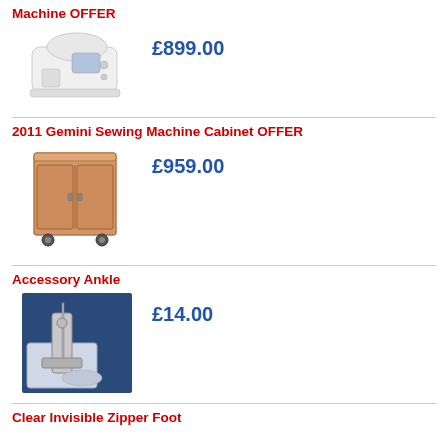Brother Innov-is in 200 Disney Embroidery Machine OFFER
£899.00
[Figure (photo): White sewing/embroidery machine product photo]
2011 Gemini Sewing Machine Cabinet OFFER
£959.00
[Figure (photo): Wooden sewing machine cabinet with doors and wheels]
Accessory Ankle
£14.00
[Figure (photo): Close-up photo of sewing machine accessory ankle/presser foot]
Clear Invisible Zipper Foot